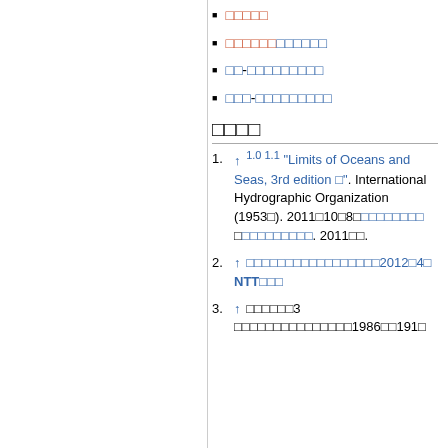（Japanese characters）
（Japanese characters）（Japanese characters）
（Japanese）- （Japanese characters）
（Japanese）- （Japanese characters）
（Japanese characters）
1. ↑ 1.0 1.1 "Limits of Oceans and Seas, 3rd edition □". International Hydrographic Organization (1953□). 2011年10月8日（Japanese）□（Japanese）. 2011年.
2. ↑ （Japanese characters）2012年4月 NTT（Japanese）
3. ↑ （Japanese）3 （Japanese characters）1986年191（Japanese）